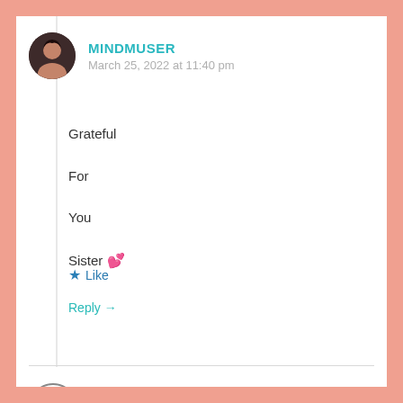MINDMUSER
March 25, 2022 at 11:40 pm
Grateful
For
You
Sister 💕
★ Like
Reply →
PAMELA BUSCH
March 26, 2022 at 2:33 am
WOW!!! I learned a lot about you, your experiences